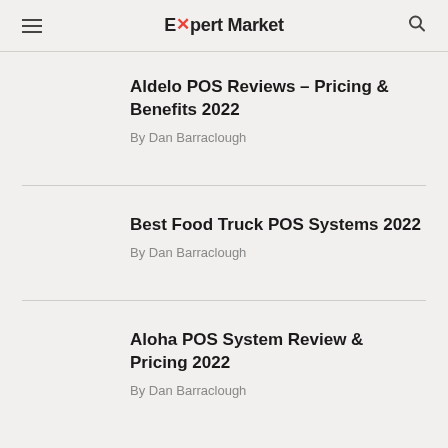Expert Market
Aldelo POS Reviews – Pricing & Benefits 2022
By Dan Barraclough
Best Food Truck POS Systems 2022
By Dan Barraclough
Aloha POS System Review & Pricing 2022
By Dan Barraclough